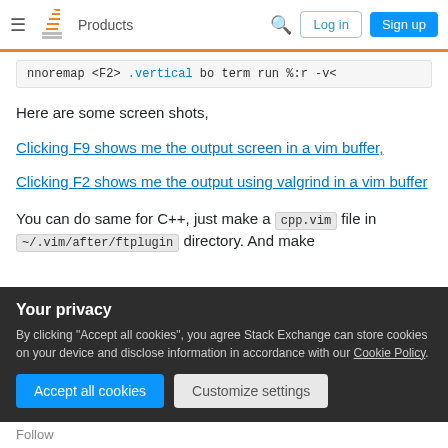≡  [Stack Overflow logo]  Products  🔍  Log in  Sign up
nnoremap <F2> .vertical bo term run %:r -v<
Here are some screen shots,
Clicking F9 shows me the output screen in a vim buffer,
Clicking F2 shows me the output using valgrind in a vim buffer
You can do same for C++, just make a cpp.vim file in ~/.vim/after/ftplugin directory. And make
Your privacy
By clicking "Accept all cookies", you agree Stack Exchange can store cookies on your device and disclose information in accordance with our Cookie Policy.
Accept all cookies   Customize settings
Follow